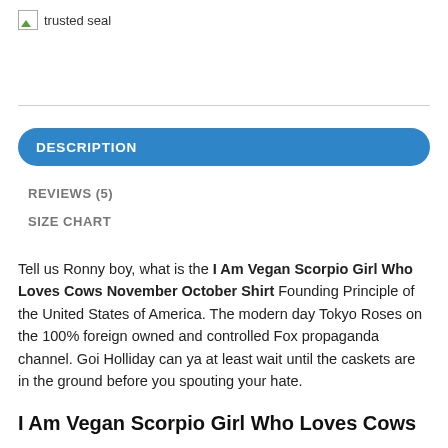[Figure (logo): Trusted seal icon with small image placeholder and text 'trusted seal']
DESCRIPTION
REVIEWS (5)
SIZE CHART
Tell us Ronny boy, what is the I Am Vegan Scorpio Girl Who Loves Cows November October Shirt Founding Principle of the United States of America. The modern day Tokyo Roses on the 100% foreign owned and controlled Fox propaganda channel. Goi Holliday can ya at least wait until the caskets are in the ground before you spouting your hate.
I Am Vegan Scorpio Girl Who Loves Cows